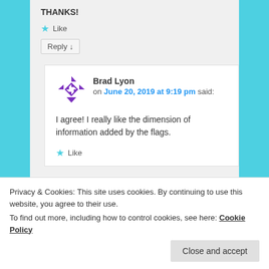THANKS!
★ Like
Reply ↓
Brad Lyon on June 20, 2019 at 9:19 pm said:
I agree! I really like the dimension of information added by the flags.
★ Like
Privacy & Cookies: This site uses cookies. By continuing to use this website, you agree to their use.
To find out more, including how to control cookies, see here: Cookie Policy
Close and accept